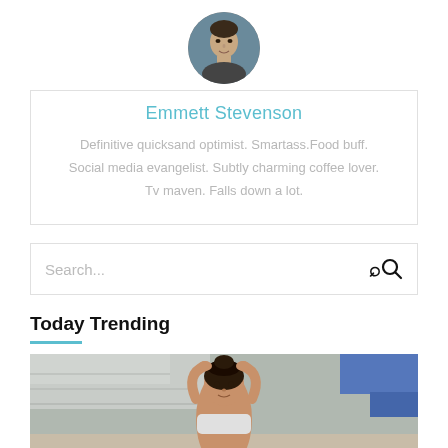[Figure (photo): Circular profile avatar photo of a young man]
Emmett Stevenson
Definitive quicksand optimist. Smartass.Food buff. Social media evangelist. Subtly charming coffee lover. Tv maven. Falls down a lot.
[Figure (screenshot): Search bar input field with magnifying glass icon]
Today Trending
[Figure (photo): Woman athlete with hands on head, looking at camera, stadium seating in background]